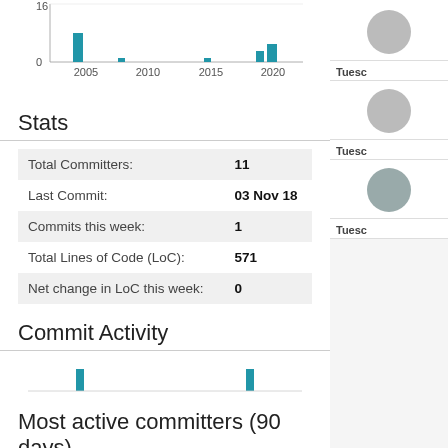[Figure (bar-chart): Commit history]
Stats
|  |  |
| --- | --- |
| Total Committers: | 11 |
| Last Commit: | 03 Nov 18 |
| Commits this week: | 1 |
| Total Lines of Code (LoC): | 571 |
| Net change in LoC this week: | 0 |
Commit Activity
[Figure (bar-chart): Commit Activity]
Most active committers (90 days)